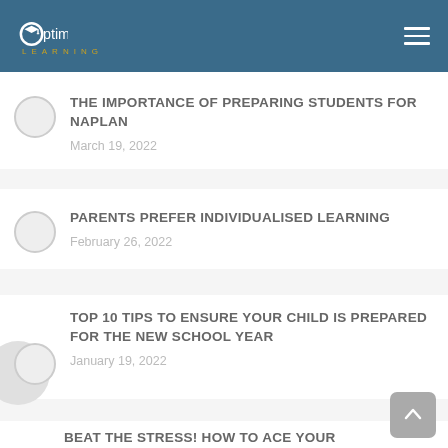Optimise Learning
THE IMPORTANCE OF PREPARING STUDENTS FOR NAPLAN
March 19, 2022
PARENTS PREFER INDIVIDUALISED LEARNING
February 26, 2022
TOP 10 TIPS TO ENSURE YOUR CHILD IS PREPARED FOR THE NEW SCHOOL YEAR
January 19, 2022
BEAT THE STRESS! HOW TO ACE YOUR